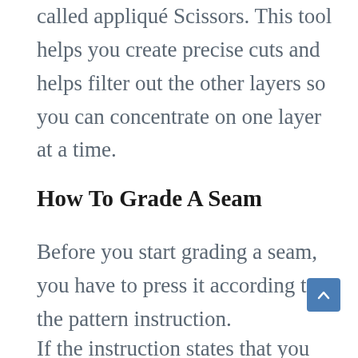called appliqué Scissors. This tool helps you create precise cuts and helps filter out the other layers so you can concentrate on one layer at a time.
How To Grade A Seam
Before you start grading a seam, you have to press it according to the pattern instruction.
If the instruction states that you should